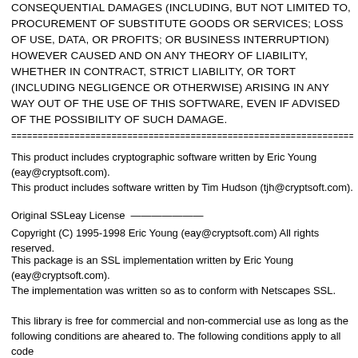CONSEQUENTIAL DAMAGES (INCLUDING, BUT NOT LIMITED TO, PROCUREMENT OF SUBSTITUTE GOODS OR SERVICES; LOSS OF USE, DATA, OR PROFITS; OR BUSINESS INTERRUPTION) HOWEVER CAUSED AND ON ANY THEORY OF LIABILITY, WHETHER IN CONTRACT, STRICT LIABILITY, OR TORT (INCLUDING NEGLIGENCE OR OTHERWISE) ARISING IN ANY WAY OUT OF THE USE OF THIS SOFTWARE, EVEN IF ADVISED OF THE POSSIBILITY OF SUCH DAMAGE.
================================================================================
This product includes cryptographic software written by Eric Young (eay@cryptsoft.com).
This product includes software written by Tim Hudson (tjh@cryptsoft.com).
Original SSLeay License ———————
Copyright (C) 1995-1998 Eric Young (eay@cryptsoft.com) All rights reserved.
This package is an SSL implementation written by Eric Young (eay@cryptsoft.com).
The implementation was written so as to conform with Netscapes SSL.
This library is free for commercial and non-commercial use as long as the following conditions are aheared to. The following conditions apply to all code